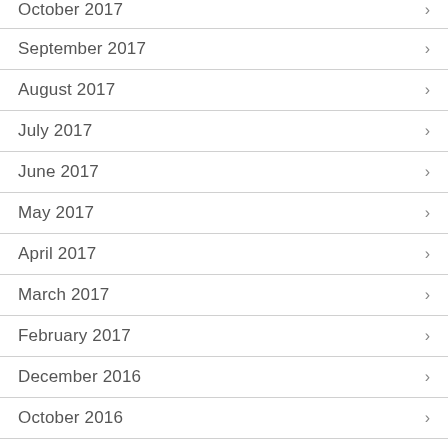October 2017
September 2017
August 2017
July 2017
June 2017
May 2017
April 2017
March 2017
February 2017
December 2016
October 2016
September 2016
June 2016